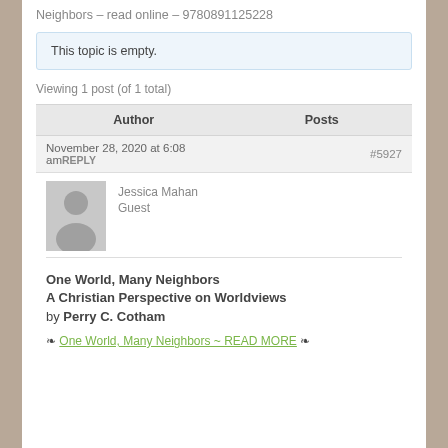Neighbors – read online – 9780891125228
This topic is empty.
Viewing 1 post (of 1 total)
| Author | Posts |
| --- | --- |
| November 28, 2020 at 6:08 amREPLY | #5927 |
| Jessica Mahan
Guest |  |
One World, Many Neighbors
A Christian Perspective on Worldviews
by Perry C. Cotham
❧ One World, Many Neighbors ~ READ MORE ❧